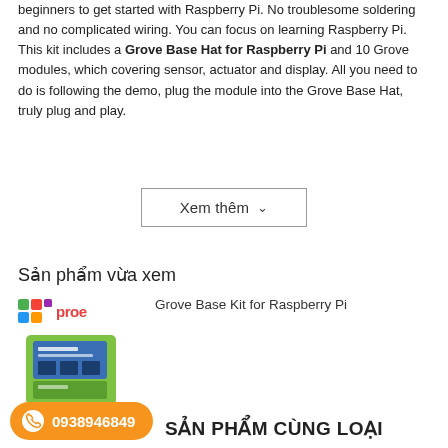beginners to get started with Raspberry Pi. No troublesome soldering and no complicated wiring. You can focus on learning Raspberry Pi. This kit includes a Grove Base Hat for Raspberry Pi and 10 Grove modules, which covering sensor, actuator and display. All you need to do is following the demo, plug the module into the Grove Base Hat, truly plug and play.
Xem thêm ∨
Sản phẩm vừa xem
[Figure (logo): Proe logo with colorful squares and proe text]
Grove Base Kit for Raspberry Pi
[Figure (photo): Grove Base Kit for Raspberry Pi product box, green and blue packaging]
0938946849
SẢN PHẨM CÙNG LOẠI